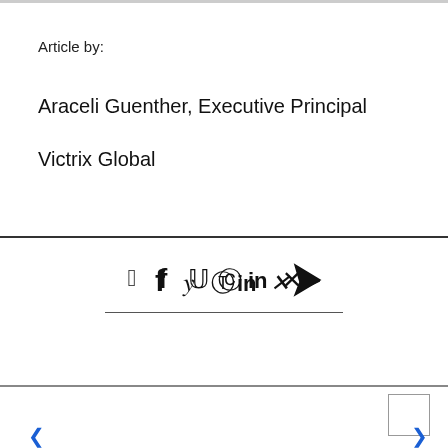Article by:
Araceli Guenther, Executive Principal
Victrix Global
[Figure (other): Social media share icons: Facebook, Twitter, Pinterest, LinkedIn, Xing, Email/Send]
< navigation arrow (prev) | nav box | > navigation arrow (next)